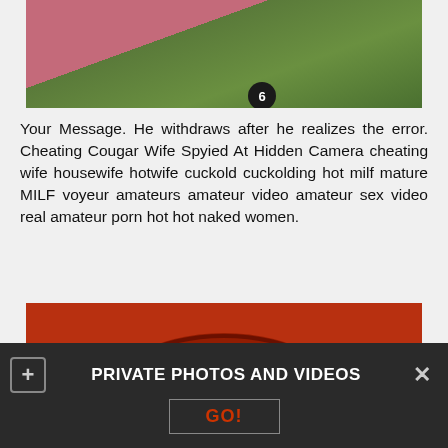[Figure (photo): Partial photo showing pink fabric/clothing on green grass background, with a circular badge showing number 6]
Your Message. He withdraws after he realizes the error. Cheating Cougar Wife Spyied At Hidden Camera cheating wife housewife hotwife cuckold cuckolding hot milf mature MILF voyeur amateurs amateur video amateur sex video real amateur porn hot hot naked women.
[Figure (photo): Photo showing a red/dark bowl or rounded object on a red/orange background]
PRIVATE PHOTOS AND VIDEOS
GO!